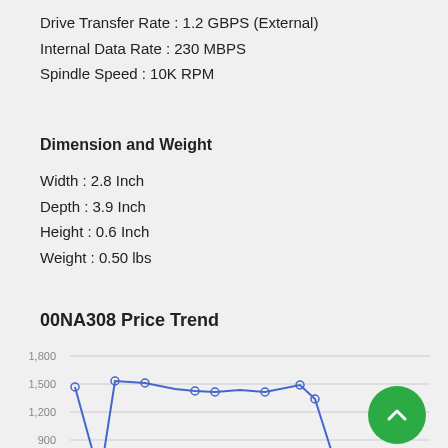Drive Transfer Rate : 1.2 GBPS (External)
Internal Data Rate : 230 MBPS
Spindle Speed : 10K RPM
Dimension and Weight
Width : 2.8 Inch
Depth : 3.9 Inch
Height : 0.6 Inch
Weight : 0.50 lbs
00NA308 Price Trend
[Figure (line-chart): Line chart showing 00NA308 price trend. Y-axis labels visible: 1,800, 1,500, 1,200, 900. The line starts around 1,480, rises to about 1,540, stays relatively flat around 1,450-1,500, then drops sharply near the right side of the chart. The chart is cropped at the bottom.]